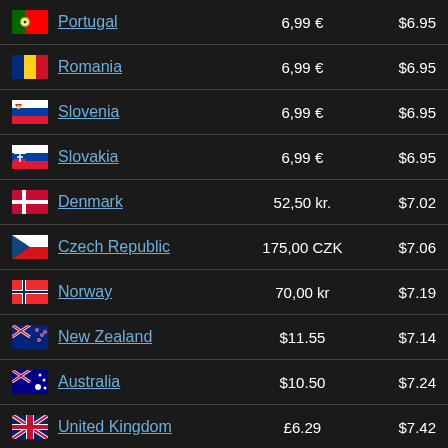| Country | Local Price | USD Price |
| --- | --- | --- |
| Portugal | 6,99 € | $6.95 |
| Romania | 6,99 € | $6.95 |
| Slovenia | 6,99 € | $6.95 |
| Slovakia | 6,99 € | $6.95 |
| Denmark | 52,50 kr. | $7.02 |
| Czech Republic | 175,00 CZK | $7.06 |
| Norway | 70,00 kr | $7.19 |
| New Zealand | $11.55 | $7.14 |
| Australia | $10.50 | $7.24 |
| United Kingdom | £6.29 | $7.42 |